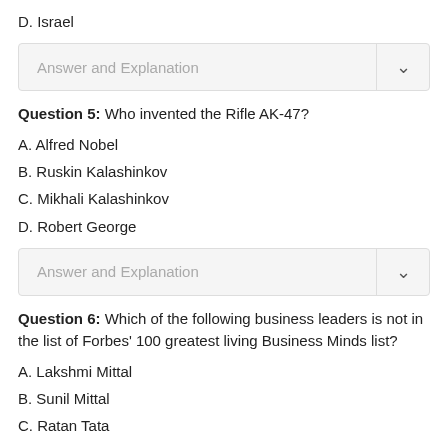D. Israel
Answer and Explanation
Question 5: Who invented the Rifle AK-47?
A. Alfred Nobel
B. Ruskin Kalashinkov
C. Mikhali Kalashinkov
D. Robert George
Answer and Explanation
Question 6: Which of the following business leaders is not in the list of Forbes' 100 greatest living Business Minds list?
A. Lakshmi Mittal
B. Sunil Mittal
C. Ratan Tata